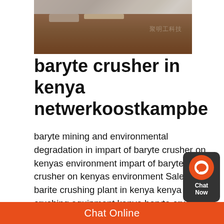[Figure (photo): Industrial crusher machine with reddish-brown material, Chinese watermark text visible]
baryte crusher in kenya netwerkoostkampbe
baryte mining and environmental degradation in impart of baryte crusher on kenyas environment impart of baryte crusher on kenyas environment Sale stone barite crushing plant in kenya kenya baryte crushing equipment kenya baryte crushing equipment crusher for sale which one is the best stone crusher suppliers in kenya quora barite marble calcite kaolin coal get price what mini stone barite crusher example barite crusher example Barite Crusher ExampleEuroSofaDirectMay 06, 2019 Barite Crusher Market is expected to grow with a healthy growth rate over the forecast period
Chat Online